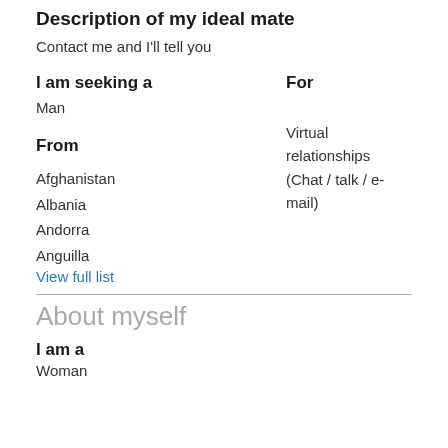Description of my ideal mate
Contact me and I'll tell you
I am seeking a
For
Man
Virtual relationships (Chat / talk / e-mail)
From
Afghanistan
Albania
Andorra
Anguilla
View full list
About myself
I am a
Woman